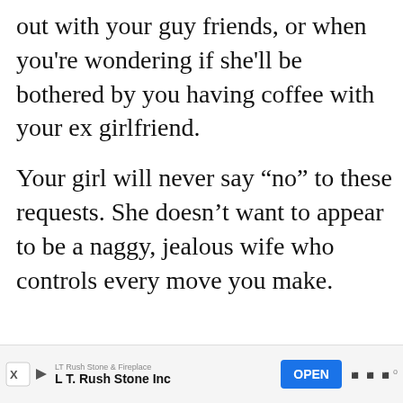out with your guy friends, or when you're wondering if she'll be bothered by you having coffee with your ex girlfriend.
Your girl will never say “no” to these requests. She doesn’t want to appear to be a naggy, jealous wife who controls every move you make.
[Figure (infographic): Like button (heart icon, red circle) with count 51, and share button below it]
[Figure (infographic): WHAT'S NEXT arrow label with thumbnail image and text '9 Signs She Is Testing You ...']
[Figure (infographic): Advertisement bar: LT Rush Stone & Fireplace / L T. Rush Stone Inc with OPEN button]